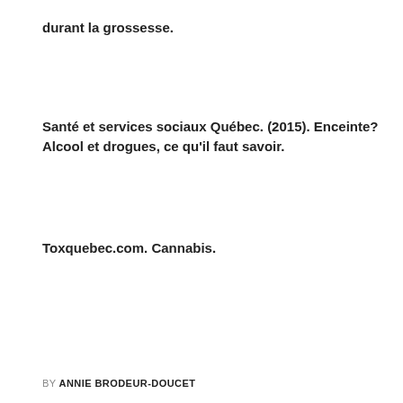durant la grossesse.
Santé et services sociaux Québec. (2015). Enceinte? Alcool et drogues, ce qu'il faut savoir.
Toxquebec.com. Cannabis.
BY ANNIE BRODEUR-DOUCET